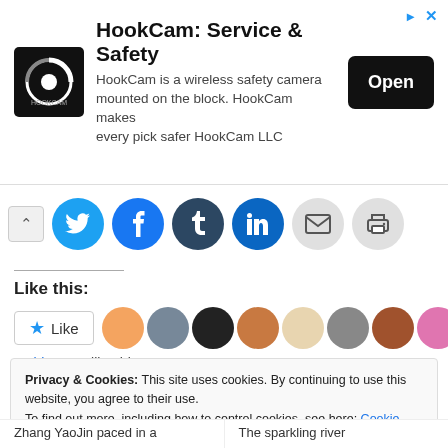[Figure (screenshot): HookCam advertisement banner with logo, title 'HookCam: Service & Safety', description text, and Open button]
[Figure (screenshot): Social sharing buttons row: chevron up, Twitter, Facebook, Tumblr, LinkedIn, Email, Print]
Like this:
[Figure (screenshot): Like button widget with star icon and blogger avatars row]
63 bloggers like this.
Privacy & Cookies: This site uses cookies. By continuing to use this website, you agree to their use.
To find out more, including how to control cookies, see here: Cookie Policy
Close and accept
Zhang YaoJin paced in a
The sparkling river